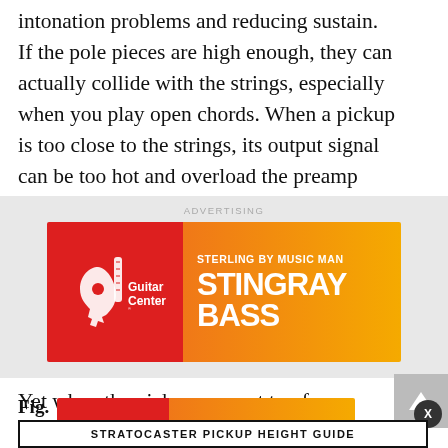intonation problems and reducing sustain. If the pole pieces are high enough, they can actually collide with the strings, especially when you play open chords. When a pickup is too close to the strings, its output signal can be too hot and overload the preamp stage in your amplifier.
[Figure (other): Guitar Center advertisement banner for Sterling by Music Man Stingray Bass. Red left panel with Guitar Center logo, orange gradient right panel with text STERLING BY MUSIC MAN STINGRAY BASS.]
Yet when the pickups are set too far away from the strings, the result is a weak signal. This will cause the guitar to sound thinner and brighter than normal.
[Figure (other): Guitar Center advertisement banner with Sept. 1–7 promotion and Shop Now button. Red left panel with Guitar Center logo, orange gradient right panel.]
Fig.
STRATOCASTER PICKUP HEIGHT GUIDE